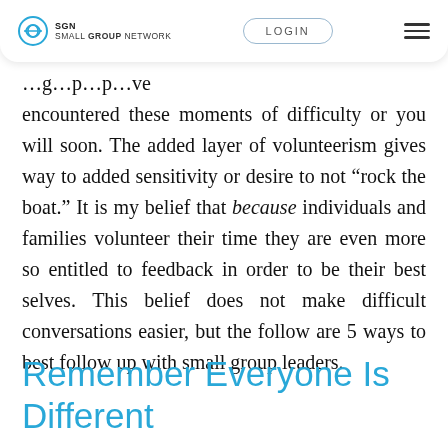SGN SMALL GROUP NETWORK | LOGIN
encountered these moments of difficulty or you will soon. The added layer of volunteerism gives way to added sensitivity or desire to not “rock the boat.” It is my belief that because individuals and families volunteer their time they are even more so entitled to feedback in order to be their best selves. This belief does not make difficult conversations easier, but the follow are 5 ways to best follow up with small group leaders.
Remember Everyone Is Different